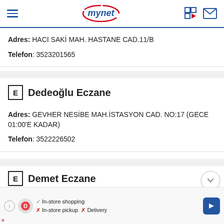mynet
Adres: HACI SAKİ MAH. HASTANE CAD.11/B
Telefon: 3523201565
Dedeoğlu Eczane
Adres: GEVHER NESİBE MAH.İSTASYON CAD. NO:17 (GECE 01:00'E KADAR)
Telefon: 3522226502
Demet Eczane
In-store shopping ✓  In-store pickup ✗  Delivery ✗